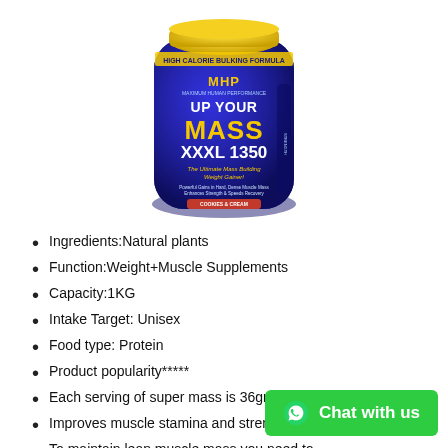[Figure (photo): MHP Up Your Mass XXXL 1350 protein supplement container, blue with yellow lid, showing product label with text 'UP YOUR MASS XXXL 1350 The Ultimate Mass Building Weight Gainer!']
Ingredients:Natural plants
Function:Weight+Muscle Supplements
Capacity:1KG
Intake Target: Unisex
Food type: Protein
Product popularity*****
Each serving of super mass is 36grams of protein
Improves muscle stamina and strength
To maintain lean muscle mass you need to